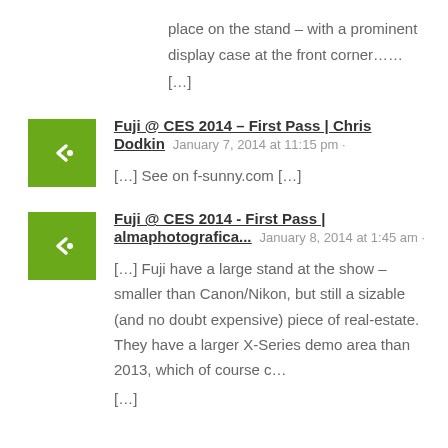place on the stand – with a prominent display case at the front corner……  […]
Fuji @ CES 2014 – First Pass | Chris Dodkin  January 7, 2014 at 11:15 pm ·
[…] See on f-sunny.com […]
Fuji @ CES 2014 - First Pass | almaphotografica...  January 8, 2014 at 1:45 am ·
[…] Fuji have a large stand at the show – smaller than Canon/Nikon, but still a sizable (and no doubt expensive) piece of real-estate. They have a larger X-Series demo area than 2013, which of course c…
[…]